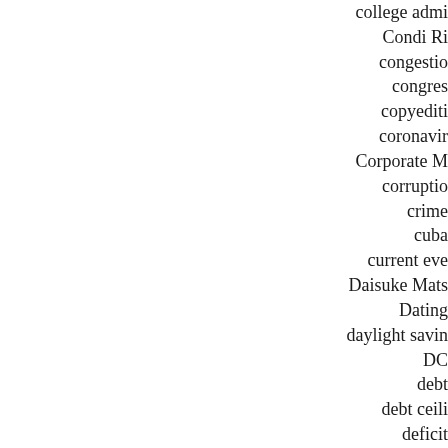college admi...
Condi Ri...
congestio...
congres...
copyediti...
coronavir...
Corporate M...
corruptio...
crime
cuba
current eve...
Daisuke Mats...
Dating...
daylight savin...
DC
debt
debt ceili...
deficit
democra...
Democra...
derivativ...
Dick Che...
dictator...
divorce...